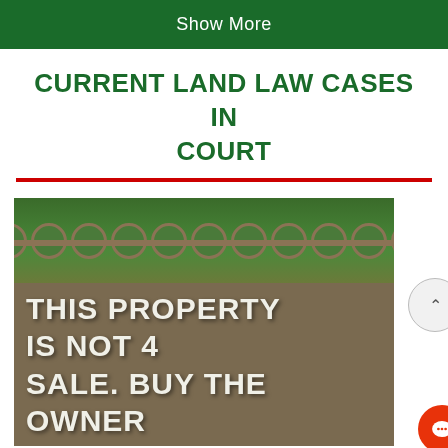Show More
CURRENT LAND LAW CASES IN COURT
[Figure (photo): A photo of a building wall with decorative circular fence/grille at the top, and graffiti text painted in white reading 'THIS PROPERTY IS NOT 4 SALE. BUY THE OWNER' on the lower wall surface.]